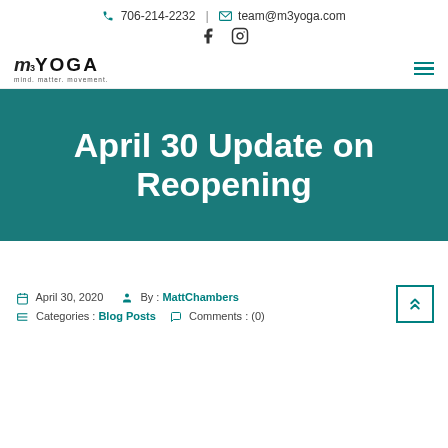706-214-2232 | team@m3yoga.com
[Figure (logo): m3 YOGA logo with tagline 'mind. matter. movement.']
April 30 Update on Reopening
April 30, 2020   By : MattChambers   Categories : Blog Posts   Comments : (0)